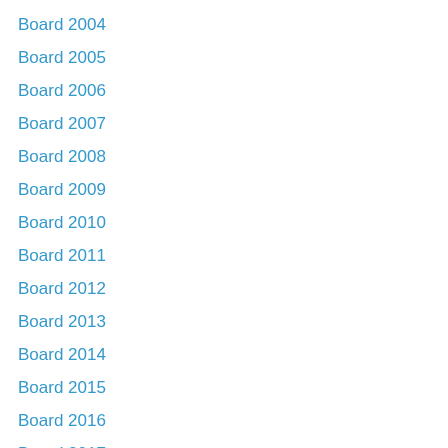Board 2004
Board 2005
Board 2006
Board 2007
Board 2008
Board 2009
Board 2010
Board 2011
Board 2012
Board 2013
Board 2014
Board 2015
Board 2016
Board 2017
Board 2018
Board 2019
Board 2020
Board 2021
Bowling "Highlights" 2017
Bowling "Highlights" 2018